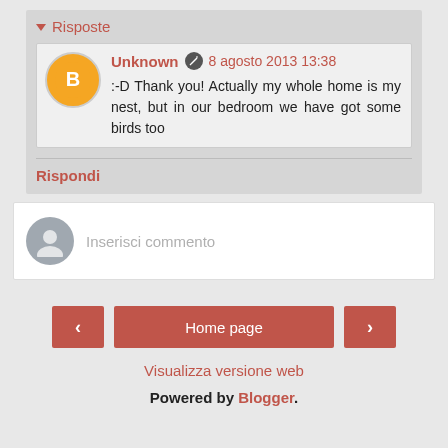Risposte
Unknown  8 agosto 2013 13:38
:-D Thank you! Actually my whole home is my nest, but in our bedroom we have got some birds too
Rispondi
Inserisci commento
< Home page >
Visualizza versione web
Powered by Blogger.